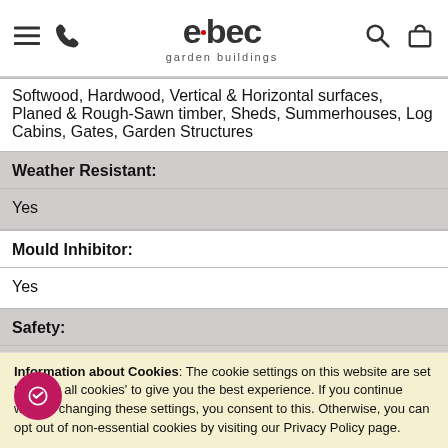elbec garden buildings
| Softwood, Hardwood, Vertical & Horizontal surfaces, Planed & Rough-Sawn timber, Sheds, Summerhouses, Log Cabins, Gates, Garden Structures |
| Weather Resistant: | Yes |
| Mould Inhibitor: | Yes |
| Safety: | Safe to use around children, animals, and other wildlife |
| Available In: | 1.5lt, 1.75lt, & 5lt in some and 20 litre... |
Information about Cookies: The cookie settings on this website are set to 'allow all cookies' to give you the best experience. If you continue without changing these settings, you consent to this. Otherwise, you can opt out of non-essential cookies by visiting our Privacy Policy page.